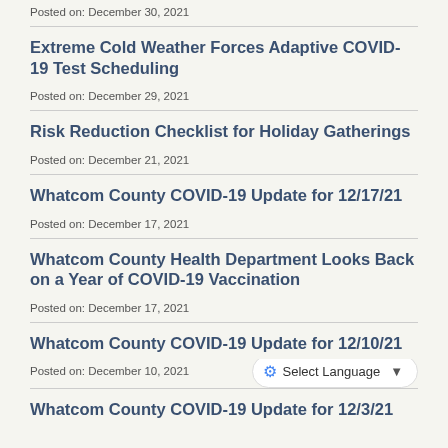Posted on: December 30, 2021
Extreme Cold Weather Forces Adaptive COVID-19 Test Scheduling
Posted on: December 29, 2021
Risk Reduction Checklist for Holiday Gatherings
Posted on: December 21, 2021
Whatcom County COVID-19 Update for 12/17/21
Posted on: December 17, 2021
Whatcom County Health Department Looks Back on a Year of COVID-19 Vaccination
Posted on: December 17, 2021
Whatcom County COVID-19 Update for 12/10/21
Posted on: December 10, 2021
Whatcom County COVID-19 Update for 12/3/21